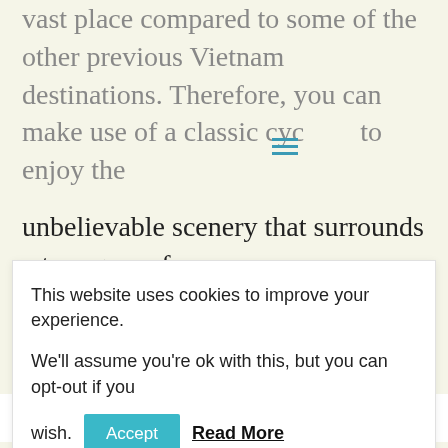vast place compared to some of the other previous Vietnam destinations. Therefore, you can make use of a classic cycle to enjoy the unbelievable scenery that surrounds a true gem of
This website uses cookies to improve your experience.

We'll assume you're ok with this, but you can opt-out if you wish. [Accept] Read More
welcoming-atmosphere around the place.
[Figure (photo): Dark photograph showing a person wearing a traditional Vietnamese conical hat, surrounded by trees and foliage in low-light conditions.]